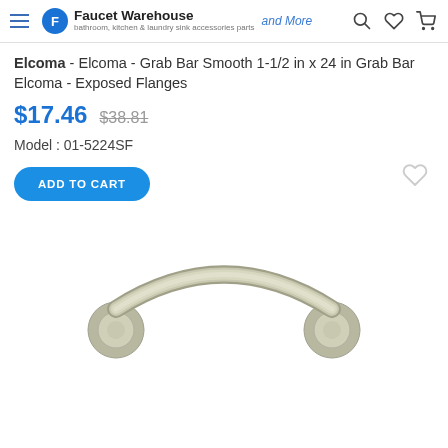Faucet Warehouse and More
Elcoma - Elcoma - Grab Bar Smooth 1-1/2 in x 24 in Grab Bar Elcoma - Exposed Flanges
$17.46  $38.81
Model : 01-5224SF
ADD TO CART
[Figure (photo): Photo of a brushed nickel grab bar with exposed flanges, curved tubular bar with circular mounting plates at each end]